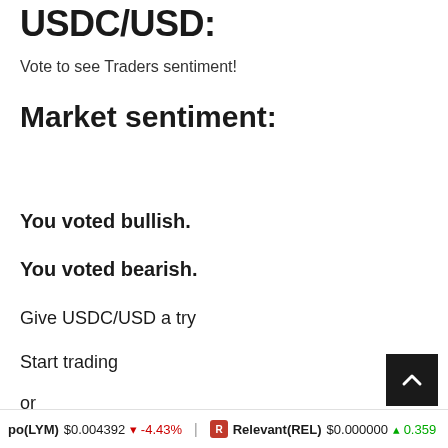USDC/USD:
Vote to see Traders sentiment!
Market sentiment:
You voted bullish.
You voted bearish.
Give USDC/USD a try
Start trading
or
Try demo
po(LYM) $0.004392 ↓ -4.43%   Relevant(REL) $0.000000 ↑ 0.359